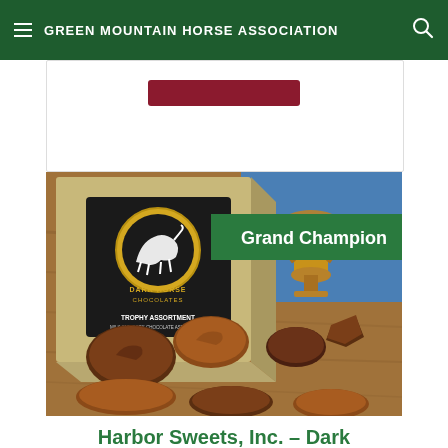GREEN MOUNTAIN HORSE ASSOCIATION
[Figure (photo): Dark Horse Chocolates Trophy Assortment box with chocolate candies shaped like horses on a wooden board, with a Grand Champion badge overlay in green]
Harbor Sweets, Inc. – Dark